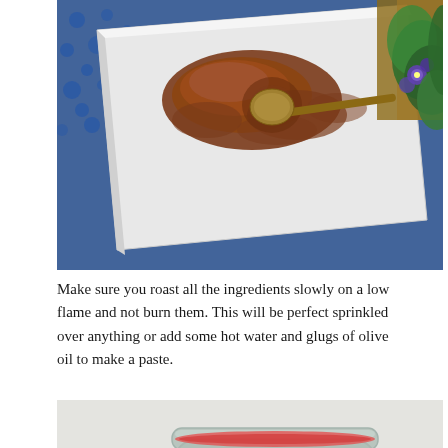[Figure (photo): Overhead view of a white ceramic tray with reddish-brown spice powder piled on it and a vintage copper/wood-handled spoon, set on a blue patterned surface with green and purple flowers visible at the upper right.]
Make sure you roast all the ingredients slowly on a low flame and not burn them. This will be perfect sprinkled over anything or add some hot water and glugs of olive oil to make a paste.
[Figure (photo): Close-up overhead view of a glass jar with a swing-top lid filled with reddish-brown spice powder and a metal measuring spoon (1 TABLESPOON) resting inside; a second open glass jar is partially visible on the left.]